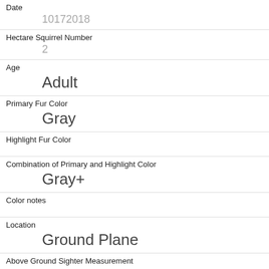| Field | Value |
| --- | --- |
| Date | 10172018 |
| Hectare Squirrel Number | 2 |
| Age | Adult |
| Primary Fur Color | Gray |
| Highlight Fur Color |  |
| Combination of Primary and Highlight Color | Gray+ |
| Color notes |  |
| Location | Ground Plane |
| Above Ground Sighter Measurement | FALSE |
| Specific Location |  |
| Running |  |